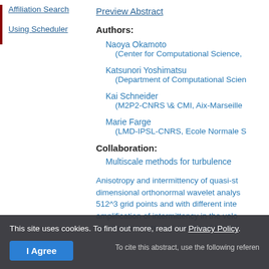Affiliation Search
Using Scheduler
Preview Abstract
Authors:
Naoya Okamoto
(Center for Computational Science,
Katsunori Yoshimatsu
(Department of Computational Scien
Kai Schneider
(M2P2-CNRS \& CMI, Aix-Marseille
Marie Farge
(LMD-IPSL-CNRS, Ecole Normale S
Collaboration:
Multiscale methods for turbulence
Anisotropy and intermittency of quasi-st dimensional orthonormal wavelet analys 512^3 grid points and with different inte amplification of intermittency in the velo accelerations are also examined by app
To cite this abstract, use the following referen
This site uses cookies. To find out more, read our Privacy Policy.